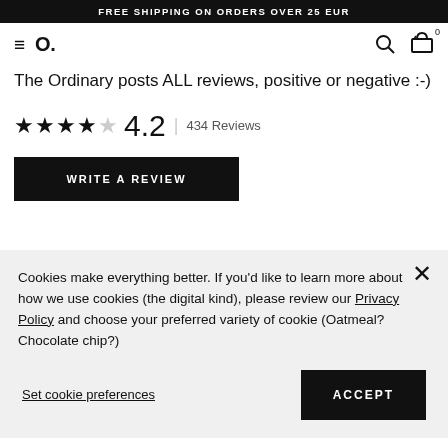FREE SHIPPING ON ORDERS OVER 25 EUR
[Figure (screenshot): Navigation bar with hamburger menu, The Ordinary logo (O.), search icon, and basket icon with 0 count]
The Ordinary posts ALL reviews, positive or negative :-)
★★★★☆ 4.2 | 434 Reviews
WRITE A REVIEW
Cookies make everything better. If you'd like to learn more about how we use cookies (the digital kind), please review our Privacy Policy and choose your preferred variety of cookie (Oatmeal? Chocolate chip?)
Set cookie preferences
ACCEPT